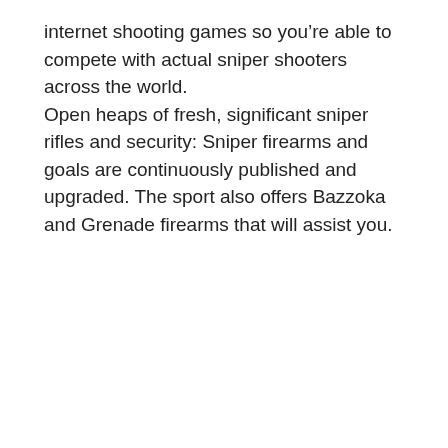internet shooting games so you're able to compete with actual sniper shooters across the world.
Open heaps of fresh, significant sniper rifles and security: Sniper firearms and goals are continuously published and upgraded. The sport also offers Bazzoka and Grenade firearms that will assist you.